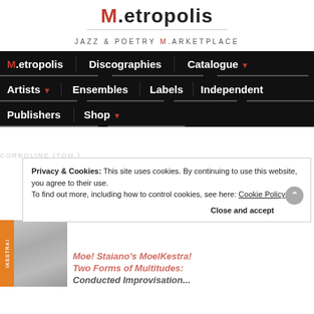M.etropolis
JAZZ & POETRY M.ARKETPLACE
M.etropolis  Discographies  Catalogue ▼  Artists ▼  Ensembles  Labels  Independent  Publishers  Shop ▼
CORBOLINE (TOM.)
Privacy & Cookies: This site uses cookies. By continuing to use this website, you agree to their use. To find out more, including how to control cookies, see here: Cookie Policy
Close and accept
[Figure (photo): Album cover thumbnail with vertical orange label strip on left reading IKESTRA!]
Moe! Staiano's MoelKestra! Two Forms of Multitudes: Conducted Improvisation...